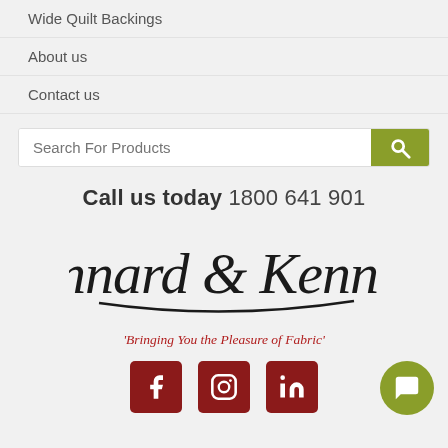Wide Quilt Backings
About us
Contact us
[Figure (other): Search bar with text 'Search For Products' and olive green search button]
Call us today 1800 641 901
[Figure (logo): Kennard & Kennard cursive logo with tagline 'Bringing You the Pleasure of Fabric']
[Figure (other): Social media icons: Facebook, Instagram, LinkedIn, and chat button]